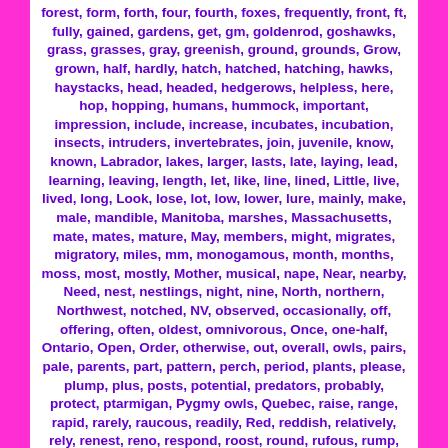forest, form, forth, four, fourth, foxes, frequently, front, ft, fully, gained, gardens, get, gm, goldenrod, goshawks, grass, grasses, gray, greenish, ground, grounds, Grow, grown, half, hardly, hatch, hatched, hatching, hawks, haystacks, head, headed, hedgerows, helpless, here, hop, hopping, humans, hummock, important, impression, include, increase, incubates, incubation, insects, intruders, invertebrates, join, juvenile, know, known, Labrador, lakes, larger, lasts, late, laying, lead, learning, leaving, length, let, like, line, lined, Little, live, lived, long, Look, lose, lot, low, lower, lure, mainly, make, male, mandible, Manitoba, marshes, Massachusetts, mate, mates, mature, May, members, might, migrates, migratory, miles, mm, monogamous, month, months, moss, most, mostly, Mother, musical, nape, Near, nearby, Need, nest, nestlings, night, nine, North, northern, Northwest, notched, NV, observed, occasionally, off, offering, often, oldest, omnivorous, Once, one-half, Ontario, Open, Order, otherwise, out, overall, owls, pairs, pale, parents, part, pattern, perch, period, plants, please, plump, plus, posts, potential, predators, probably, protect, ptarmigan, Pygmy owls, Quebec, raise, range, rapid, rarely, raucous, readily, Red, reddish, relatively, rely, renest, reno, respond, roost, round, rufous, rump, rusty, same, scattered, scrabbling, screech, scrubby, search, Season, second, seeds, Seen, September, series, sharp-shinned, shelter, shortly, show,